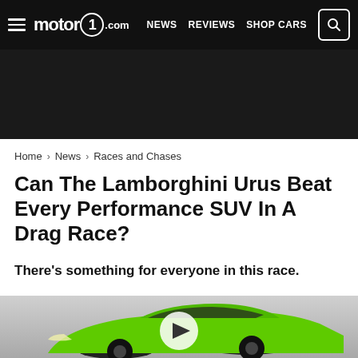motor1.com — NEWS  REVIEWS  SHOP CARS
[Figure (other): Dark advertisement banner area]
Home > News > Races and Chases
Can The Lamborghini Urus Beat Every Performance SUV In A Drag Race?
There's something for everyone in this race.
[Figure (photo): Green Lamborghini Urus SUV with a video play button overlay, parked against a grey gradient background]